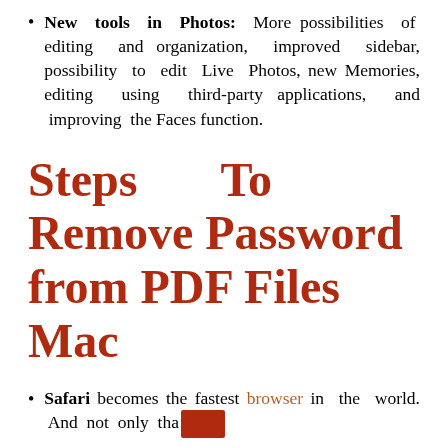New tools in Photos: More possibilities of editing and organization, improved sidebar, possibility to edit Live Photos, new Memories, editing using third-party applications, and improving the Faces function.
Steps To Remove Password from PDF Files Mac
Safari becomes the fastest browser in the world. And not only tha[redacted]